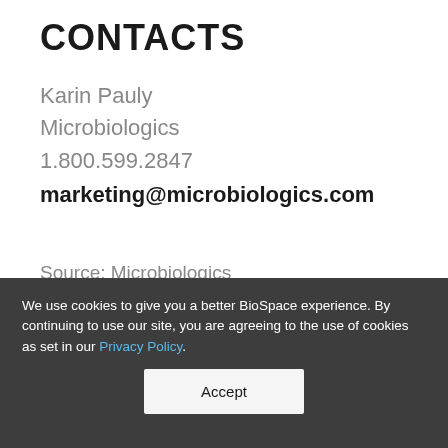CONTACTS
Karin Pauly
Microbiologics
1.800.599.2847
marketing@microbiologics.com
Source: Microbiologics
We use cookies to give you a better BioSpace experience. By continuing to use our site, you are agreeing to the use of cookies as set in our Privacy Policy.